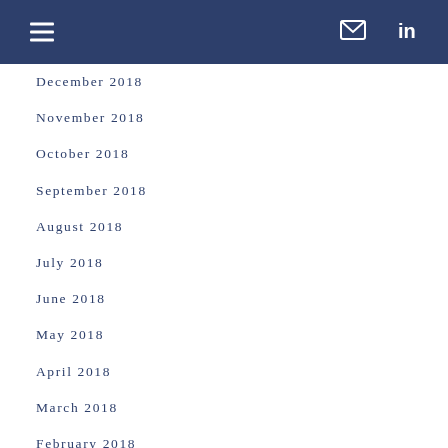Navigation header with menu, email, and LinkedIn icons
December 2018
November 2018
October 2018
September 2018
August 2018
July 2018
June 2018
May 2018
April 2018
March 2018
February 2018
January 2018